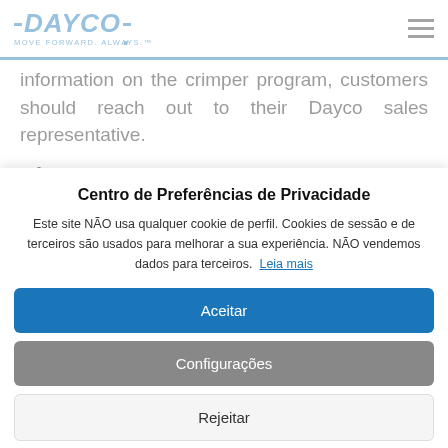DAYCO — MOVE FORWARD. ALWAYS.™
information on the crimper program, customers should reach out to their Dayco sales representative.
About Dayco
Centro de Preferências de Privacidade
Este site NÃO usa qualquer cookie de perfil. Cookies de sessão e de terceiros são usados para melhorar a sua experiência. NÃO vendemos dados para terceiros. Leia mais
Aceitar
Configurações
Rejeitar